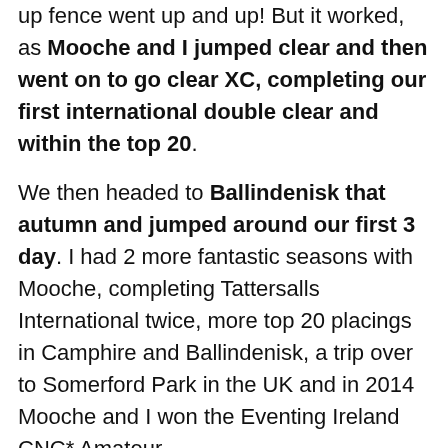up fence went up and up! But it worked, as Mooche and I jumped clear and then went on to go clear XC, completing our first international double clear and within the top 20. We then headed to Ballindenisk that autumn and jumped around our first 3 day. I had 2 more fantastic seasons with Mooche, completing Tattersalls International twice, more top 20 placings in Camphire and Ballindenisk, a trip over to Somerford Park in the UK and in 2014 Mooche and I won the Eventing Ireland CNC* Amateur championship.